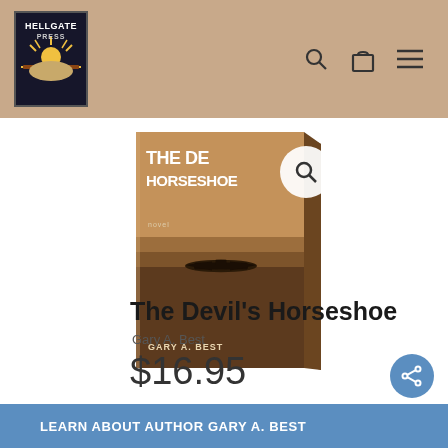[Figure (logo): Hellgate Press logo — black and gold emblem with sun/rays motif and text HELLGATE PRESS]
[Figure (photo): Book cover image of 'The Devil's Horseshoe' by Gary A. Best — brown/sepia toned cover with airplane silhouette and title text, shown as a 3D book mockup with a magnifying glass search icon overlay]
The Devil's Horseshoe
Gary A. Best
$16.95
A Novel
LEARN ABOUT AUTHOR Gary A. Best